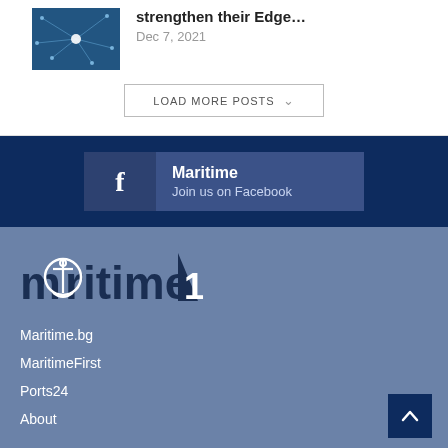[Figure (photo): Thumbnail image of a network/tech visualization on dark blue background]
strengthen their Edge…
Dec 7, 2021
LOAD MORE POSTS
Maritime
Join us on Facebook
[Figure (logo): maritime1 logo with anchor and sail triangle]
Maritime.bg
MaritimeFirst
Ports24
About